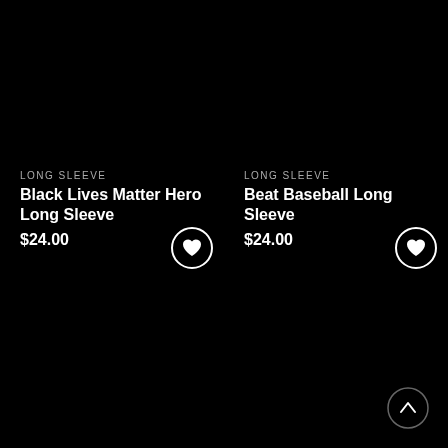LONG SLEEVE
Black Lives Matter Hero Long Sleeve
$24.00
[Figure (illustration): White heart icon in a white circle, wishlist button for left product]
LONG SLEEVE
Beat Baseball Long Sleeve
$24.00
[Figure (illustration): White heart icon in a white circle, wishlist button for right product]
[Figure (illustration): Scroll-to-top button, upward chevron in a gray circle, bottom right corner]